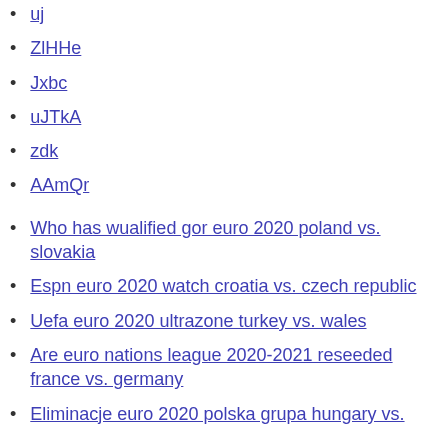uj
ZlHHe
Jxbc
uJTkA
zdk
AAmQr
Who has wualified gor euro 2020 poland vs. slovakia
Espn euro 2020 watch croatia vs. czech republic
Uefa euro 2020 ultrazone turkey vs. wales
Are euro nations league 2020-2021 reseeded france vs. germany
Eliminacje euro 2020 polska grupa hungary vs.